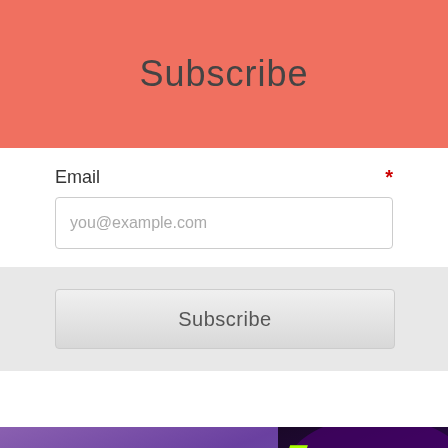Subscribe
Email *
you@example.com
Subscribe
[Figure (illustration): Promotional banner for 'Tommy and the' book tour featuring authors Anthony J. Rapino and Anthony D. Grate. Purple/cloud background with green graffiti-style 'Tommy' title text repeated on both left and right halves.]